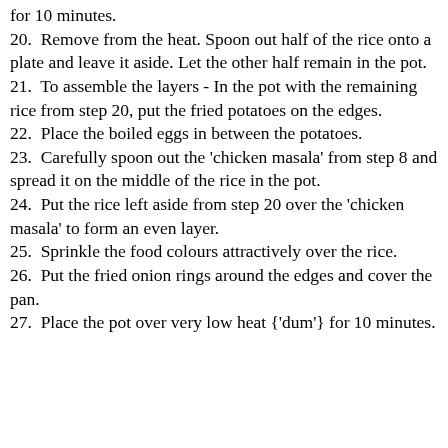for 10 minutes.
20.  Remove from the heat. Spoon out half of the rice onto a plate and leave it aside. Let the other half remain in the pot.
21.  To assemble the layers - In the pot with the remaining rice from step 20, put the fried potatoes on the edges.
22.  Place the boiled eggs in between the potatoes.
23.  Carefully spoon out the 'chicken masala' from step 8 and spread it on the middle of the rice in the pot.
24.  Put the rice left aside from step 20 over the 'chicken masala' to form an even layer.
25.  Sprinkle the food colours attractively over the rice.
26.  Put the fried onion rings around the edges and cover the pan.
27.  Place the pot over very low heat {'dum'} for 10 minutes.